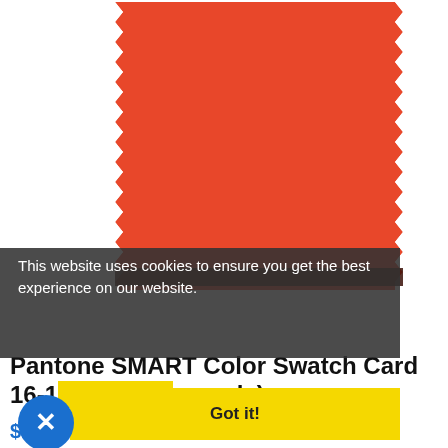[Figure (photo): Pantone color swatch card with zigzag/pinking shear edges on left and right sides. The swatch is a vivid orange-red color (Orangeade). The card has a white background and the colored fabric swatch is centered with decorative cut edges.]
This website uses cookies to ensure you get the best experience on our website.
Pantone SMART Color Swatch Card 16-1451 TCX (Orangeade)
Got it!
$13.00